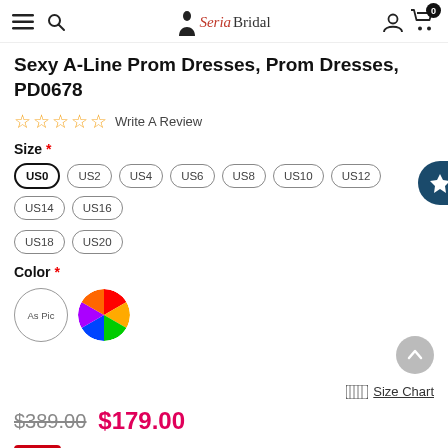SeriaBridal navigation bar with hamburger, search, logo, user, cart
Sexy A-Line Prom Dresses, Prom Dresses, PD0678
☆☆☆☆☆ Write A Review
Size *
US0 US2 US4 US6 US8 US10 US12 US14 US16 US18 US20
Color *
As Pic (color swatch) Rainbow color swatch
Size Chart
$389.00  $179.00
Not  Additional comments